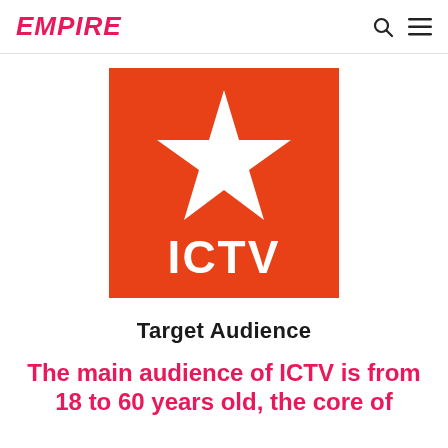EMPIRE
[Figure (logo): ICTV logo: orange square background with a white five-pointed star in the upper portion and white bold text 'ICTV' in the lower portion]
Target Audience
The main audience of ICTV is from 18 to 60 years old, the core of